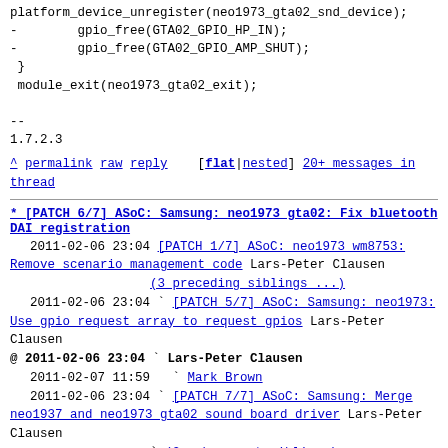platform_device_unregister(neo1973_gta02_snd_device);
-        gpio_free(GTA02_GPIO_HP_IN);
-        gpio_free(GTA02_GPIO_AMP_SHUT);
 }
 module_exit(neo1973_gta02_exit);

--
1.7.2.3
^ permalink raw reply [flat|nested] 20+ messages in thread
* [PATCH 6/7] ASoC: Samsung: neo1973 gta02: Fix bluetooth DAI registration
2011-02-06 23:04 [PATCH 1/7] ASoC: neo1973 wm8753: Remove scenario management code Lars-Peter Clausen
(3 preceding siblings ...)
2011-02-06 23:04 ` [PATCH 5/7] ASoC: Samsung: neo1973: Use gpio request array to request gpios Lars-Peter Clausen
@ 2011-02-06 23:04 ` Lars-Peter Clausen
2011-02-07 11:59   ` Mark Brown
2011-02-06 23:04 ` [PATCH 7/7] ASoC: Samsung: Merge neo1937 and neo1973 gta02 sound board driver Lars-Peter Clausen
(2 subsequent siblings)
7 siblings, 1 reply; 20+ messages in thread